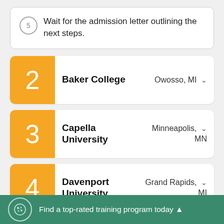5 Wait for the admission letter outlining the next steps.
2 Baker College — Owosso, MI
3 Capella University — Minneapolis, MN
4 Davenport University — Grand Rapids, MI
Find a top-rated training program today ▲